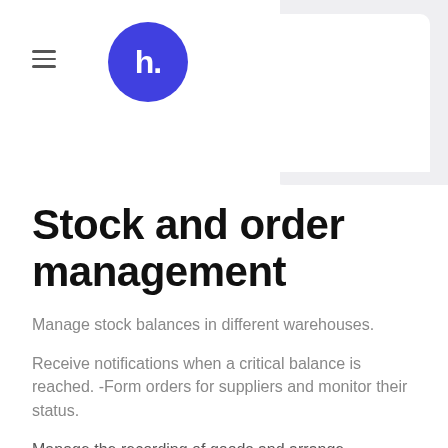h. (logo)
Stock and order management
Manage stock balances in different warehouses.
Receive notifications when a critical balance is reached. -Form orders for suppliers and monitor their status.
Manage the recording of goods and arrange transportation between warehouses.